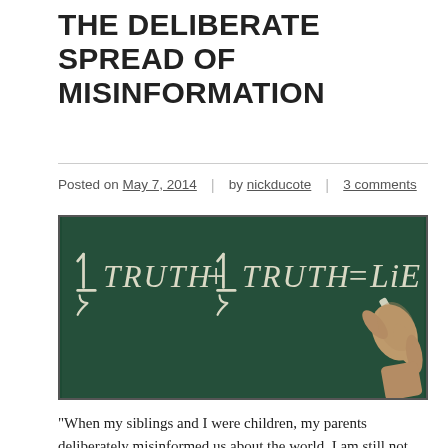THE DELIBERATE SPREAD OF MISINFORMATION
Posted on May 7, 2014 | by nickducote | 3 comments
[Figure (photo): A hand writing on a green chalkboard: 1/2 TRUTH + 1/2 TRUTH = LIE]
“When my siblings and I were children, my parents deliberately misinformed us about the world. I am still not sure what the overall goal was. Some of it makes sense. The ideological nonsense that contributed to psychological control makes